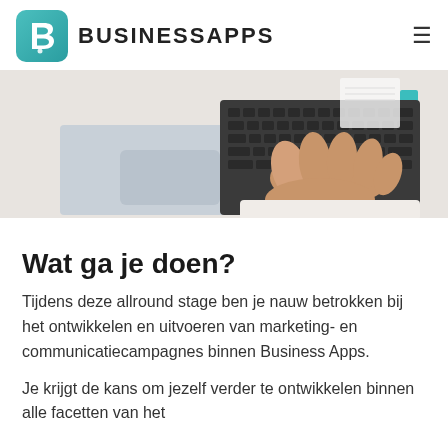BUSINESSAPPS
[Figure (photo): Person typing on a laptop keyboard, top-down view, light background with teal accent visible at edge]
Wat ga je doen?
Tijdens deze allround stage ben je nauw betrokken bij het ontwikkelen en uitvoeren van marketing- en communicatiecampagnes binnen Business Apps.
Je krijgt de kans om jezelf verder te ontwikkelen binnen alle facetten van het